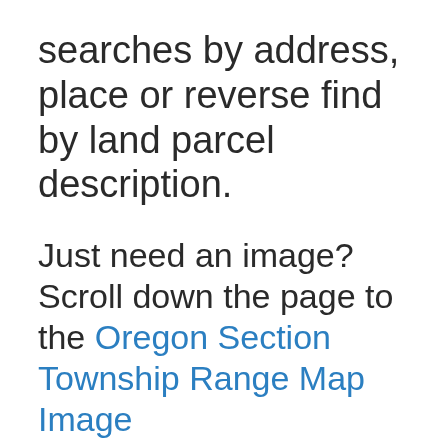searches by address, place or reverse find by land parcel description.
Just need an image? Scroll down the page to the Oregon Section Township Range Map Image
Township and Range made easy! With this section township range finder, you can view and search the Public Land Survey System (PLSS), also known as Congressional townships or survey townships, all the way down to the section, quarter section and quarter quarter section level anywhere in Oregon, all overlaid on a fully interactive Google Map. Optionally, add